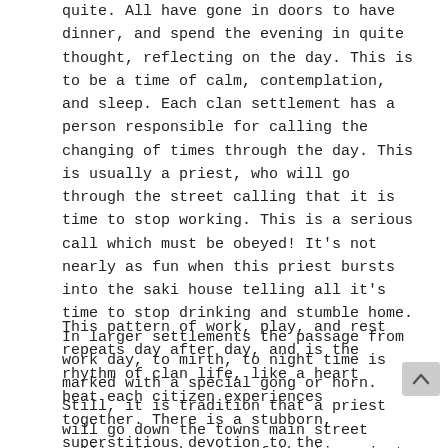quite.  All have gone in doors to have dinner, and spend the evening in quite thought, reflecting on the day. This is to be a time of calm, contemplation, and sleep.  Each clan settlement has a person responsible for calling the changing of times through the day. This is usually a priest, who will go through the street calling that it is time to stop working.  This is a serious call which must be obeyed!  It's not nearly as fun when this priest bursts into the saki house telling all it's time to stop drinking and stumble home.  In larger settlements the passage from work day, to mirth, to night time is marked with a special gong or horn.  Still, it is tradition that a priest will go down the towns main street calling the changing of the time, just for show and tradition.
This pattern of work, play, and rest repeats day after day, and is the rhythm of clan life, like a heart beat each citizen experiences together. There is a stubborn, superstitious devotion to the routine, so much so that it defines clan life.  There are some exceptions, but these fit right into the rhythm, less like interruptions, and more like planned exceptions that mark the passage of time.